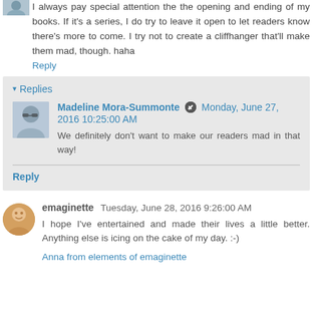I always pay special attention the the opening and ending of my books. If it's a series, I do try to leave it open to let readers know there's more to come. I try not to create a cliffhanger that'll make them mad, though. haha
Reply
▾ Replies
Madeline Mora-Summonte ✏ Monday, June 27, 2016 10:25:00 AM
We definitely don't want to make our readers mad in that way!
Reply
emaginette Tuesday, June 28, 2016 9:26:00 AM
I hope I've entertained and made their lives a little better. Anything else is icing on the cake of my day. :-)
Anna from elements of emaginette